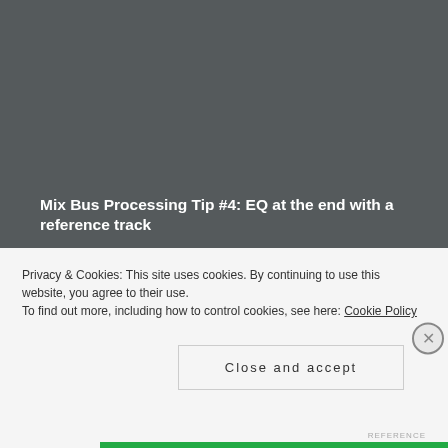Mix Bus Processing Tip #4: EQ at the end with a reference track
The one thing I will do at the end of the mixing process is EQ.
Usually, when I'm doing mix bus EQ at the end, I'm listening to a reference track, and trying to balance my EQ against the reference.
Privacy & Cookies: This site uses cookies. By continuing to use this website, you agree to their use.
To find out more, including how to control cookies, see here: Cookie Policy
Close and accept